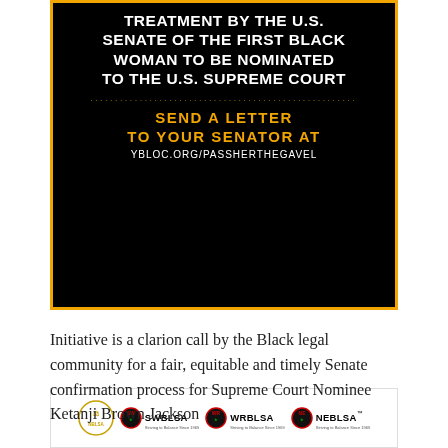[Figure (infographic): Black background poster with gold border. White bold uppercase text at top reading 'TREATMENT BY THE U.S. SENATE OF THE FIRST BLACK WOMAN TO BE NOMINATED TO THE U.S. SUPREME COURT'. Gold dotted divider line. Gold bold text 'SEND A LETTER TO YOUR SENATOR AT' followed by white text 'YBLOC.ORG/PASSHERTHEGAVEL'. Bottom white logo bar with NBLSA, SWBLSA, WRBLSA, NEBLSA organization logos.]
Initiative is a clarion call by the Black legal community for a fair, equitable and timely Senate confirmation process for Supreme Court Nominee Ketanji Brown Jackson